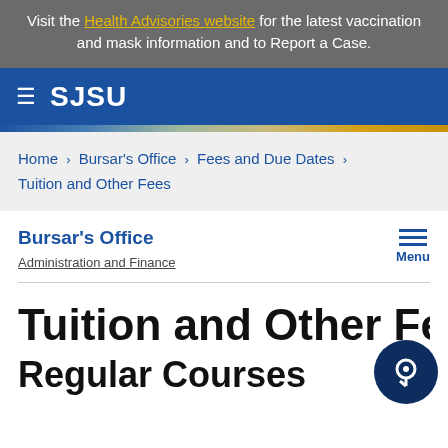Visit the Health Advisories website for the latest vaccination and mask information and to Report a Case.
SJSU
Home > Bursar's Office > Fees and Due Dates > Tuition and Other Fees
Bursar's Office
Administration and Finance
Tuition and Other Fees
Regular Courses